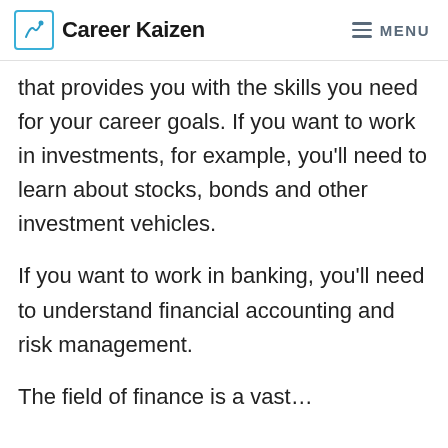Career Kaizen   MENU
that provides you with the skills you need for your career goals. If you want to work in investments, for example, you'll need to learn about stocks, bonds and other investment vehicles.
If you want to work in banking, you'll need to understand financial accounting and risk management.
The field of finance is a vast…